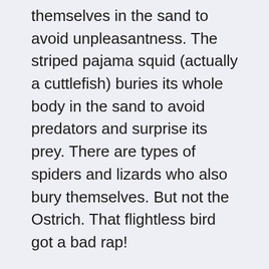themselves in the sand to avoid unpleasantness. The striped pajama squid (actually a cuttlefish) buries its whole body in the sand to avoid predators and surprise its prey. There are types of spiders and lizards who also bury themselves. But not the Ostrich. That flightless bird got a bad rap!
Hey! I get it! It is so easy for us to bury our heads when faced with harsh, unpleasant or uncomfortable information. That type of truth challenges our feelings of safety. In our hearts we know we should listen and deal with unpleasant things. But it brings us such a feeling of unease.